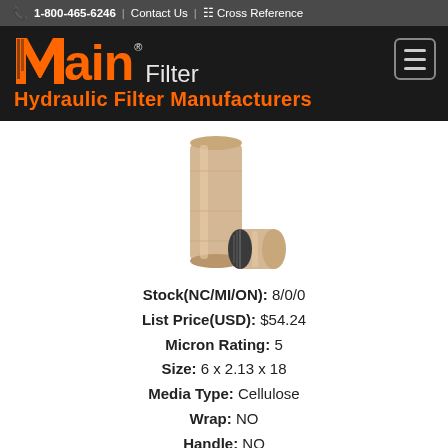1-800-465-6246 | Contact Us | Cross Reference
[Figure (logo): Main Filter - Hydraulic Filter Manufacturers logo with orange text on black background]
[Figure (photo): Two hydraulic filter cartridges - one tall cylindrical beige filter standing upright and one smaller filter element lying on its side showing the threaded end]
Stock(NC/MI/ON): 8/0/0
List Price(USD): $54.24
Micron Rating: 5
Size: 6 x 2.13 x 18
Media Type: Cellulose
Wrap: NO
Handle: NO
BUY NOW